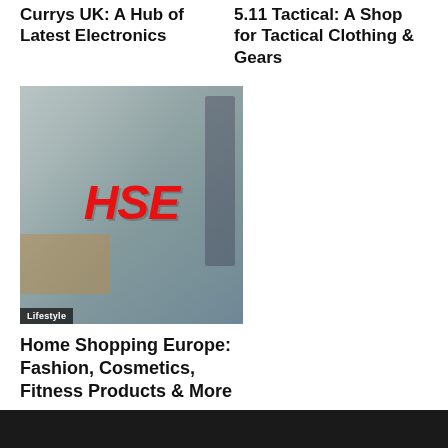Currys UK: A Hub of Latest Electronics
5.11 Tactical: A Shop for Tactical Clothing & Gears
[Figure (photo): Woman packing boxes in a clothing store with HSE logo overlaid in red italic text. Lifestyle category label in lower left corner.]
Home Shopping Europe: Fashion, Cosmetics, Fitness Products & More